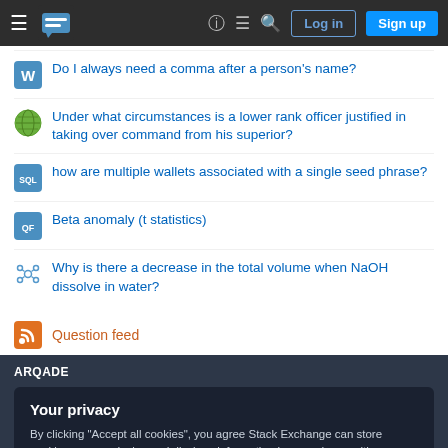Stack Exchange navigation bar with logo, Log in and Sign up buttons
Do I always need a comma after a person's name?
Under what circumstances is a lower rank officer justified in taking over command from his superior?
how are multiple wallets associated with a single seed phrase?
Beta anomaly (t statistics)
Why is there a decrease in the total volume when NaOH dissolve in water?
Question feed
ARQADE
Your privacy
By clicking "Accept all cookies", you agree Stack Exchange can store cookies on your device and disclose information in accordance with our Cookie Policy.
Accept all cookies   Customize settings
Technology   Culture & recreation   Life & arts   Science   Professional